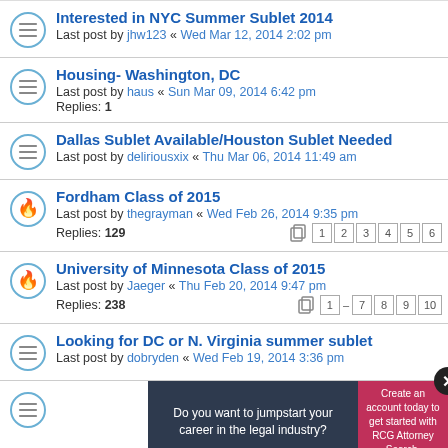Interested in NYC Summer Sublet 2014
Last post by jhw123 « Wed Mar 12, 2014 2:02 pm
Housing- Washington, DC
Last post by haus « Sun Mar 09, 2014 6:42 pm
Replies: 1
Dallas Sublet Available/Houston Sublet Needed
Last post by deliriousxix « Thu Mar 06, 2014 11:49 am
Fordham Class of 2015
Last post by thegrayman « Wed Feb 26, 2014 9:35 pm
Replies: 129  Pages: 1 2 3 4 5 6
University of Minnesota Class of 2015
Last post by Jaeger « Thu Feb 20, 2014 9:47 pm
Replies: 238  Pages: 1 … 7 8 9 10
Looking for DC or N. Virginia summer sublet
Last post by dobryden « Wed Feb 19, 2014 3:36 pm
[Figure (screenshot): Partial forum row with ad overlay: 'Do you want to jumpstart your career in the legal industry?' with pink CTA button 'Create an account today to get started with RCG Attorney Search.' and close X button]